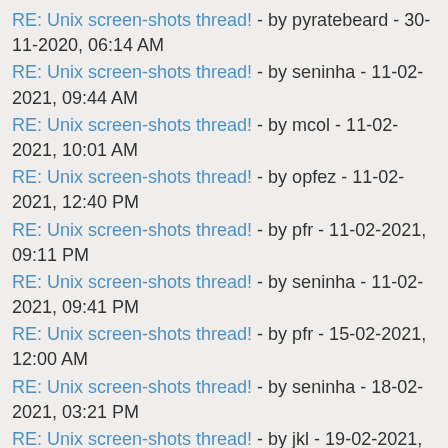RE: Unix screen-shots thread! - by pyratebeard - 30-11-2020, 06:14 AM
RE: Unix screen-shots thread! - by seninha - 11-02-2021, 09:44 AM
RE: Unix screen-shots thread! - by mcol - 11-02-2021, 10:01 AM
RE: Unix screen-shots thread! - by opfez - 11-02-2021, 12:40 PM
RE: Unix screen-shots thread! - by pfr - 11-02-2021, 09:11 PM
RE: Unix screen-shots thread! - by seninha - 11-02-2021, 09:41 PM
RE: Unix screen-shots thread! - by pfr - 15-02-2021, 12:00 AM
RE: Unix screen-shots thread! - by seninha - 18-02-2021, 03:21 PM
RE: Unix screen-shots thread! - by jkl - 19-02-2021, 07:02 AM
RE: Unix screen-shots thread! - by seninha - 11-03-2021, 10:01 AM
RE: Unix screen-shots thread! - by movq - 11-03-2021, 04:24 PM
RE: Unix screen-shots thread! - by pfr - 11-03-2021, 07:36 PM
RE: Unix screen-shots thread! - by seninha - 11-03-2021, 08:02